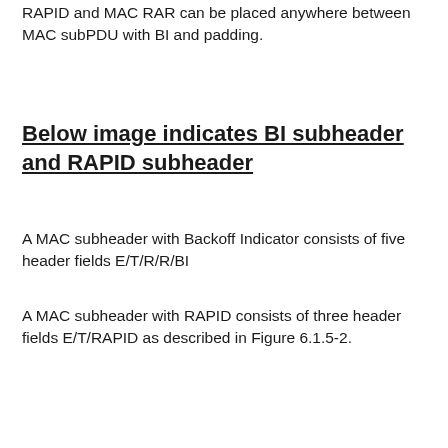RAPID and MAC RAR can be placed anywhere between MAC subPDU with BI and padding.
Below image indicates BI subheader and RAPID subheader
A MAC subheader with Backoff Indicator consists of five header fields E/T/R/R/BI
A MAC subheader with RAPID consists of three header fields E/T/RAPID as described in Figure 6.1.5-2.